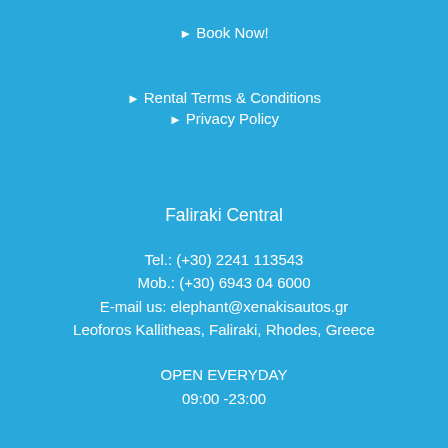▶ Book Now!
▶ Rental Terms & Conditions
▶ Privacy Policy
Faliraki Central
Tel.: (+30) 2241 113543
Mob.: (+30) 6943 04 6000
E-mail us: elephant@xenakisautos.gr
Leoforos Kallitheas, Faliraki, Rhodes, Greece
OPEN EVERYDAY
09:00 -23:00
Faliraki Avenue
Tel.: (+30) 2241 112651